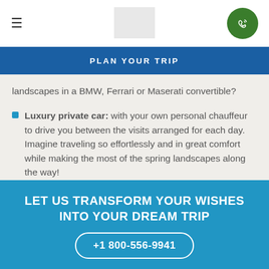≡  [logo]  [phone icon]
PLAN YOUR TRIP
landscapes in a BMW, Ferrari or Maserati convertible?
Luxury private car: with your own personal chauffeur to drive you between the visits arranged for each day. Imagine traveling so effortlessly and in great comfort while making the most of the spring landscapes along the way!
LET US TRANSFORM YOUR WISHES INTO YOUR DREAM TRIP
+1 800-556-9941